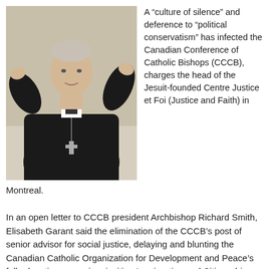[Figure (photo): A bishop or Catholic clergyman dressed in black clerical attire with a cross, gesturing with both hands raised, speaking or presenting. Light background. The person has grey-white hair.]
A “culture of silence” and deference to “political conservatism” has infected the Canadian Conference of Catholic Bishops (CCCB), charges the head of the Jesuit-founded Centre Justice et Foi (Justice and Faith) in Montreal.
In an open letter to CCCB president Archbishop Richard Smith, Elisabeth Garant said the elimination of the CCCB’s post of senior advisor for social justice, delaying and blunting the Canadian Catholic Organization for Development and Peace’s fall education campaign, inviting Immigration and Citizenship Minister Jason Kenney to a